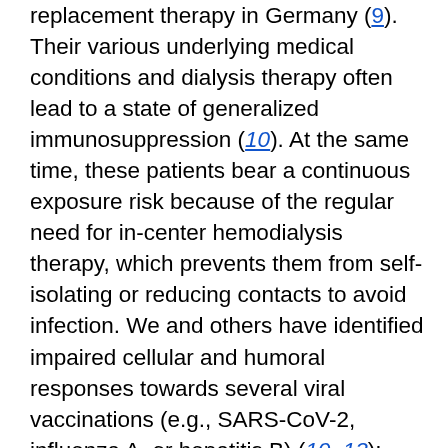replacement therapy in Germany (9). Their various underlying medical conditions and dialysis therapy often lead to a state of generalized immunosuppression (10). At the same time, these patients bear a continuous exposure risk because of the regular need for in-center hemodialysis therapy, which prevents them from self-isolating or reducing contacts to avoid infection. We and others have identified impaired cellular and humoral responses towards several viral vaccinations (e.g., SARS-CoV-2, influenza A, or hepatitis B) (10–13); however, there is a lack of longitudinal vaccination response studies against SARS-CoV-2 within this population. To guide future vaccination strategies as to whether additional booster vaccinations for at-risk groups to prevent severe COVID-19 are required, we provide follow-up data for a previously reported cohort of 76 persons receiving hemodialysis and 23 healthcare workers with no